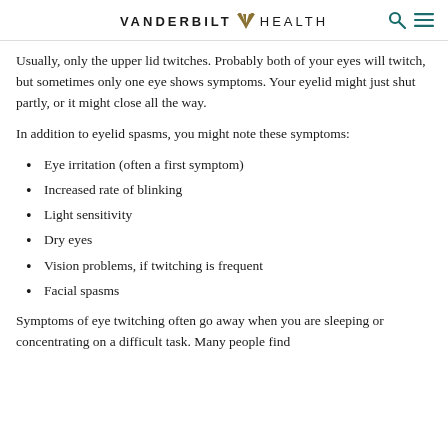VANDERBILT HEALTH
Usually, only the upper lid twitches. Probably both of your eyes will twitch, but sometimes only one eye shows symptoms. Your eyelid might just shut partly, or it might close all the way.
In addition to eyelid spasms, you might note these symptoms:
Eye irritation (often a first symptom)
Increased rate of blinking
Light sensitivity
Dry eyes
Vision problems, if twitching is frequent
Facial spasms
Symptoms of eye twitching often go away when you are sleeping or concentrating on a difficult task. Many people find